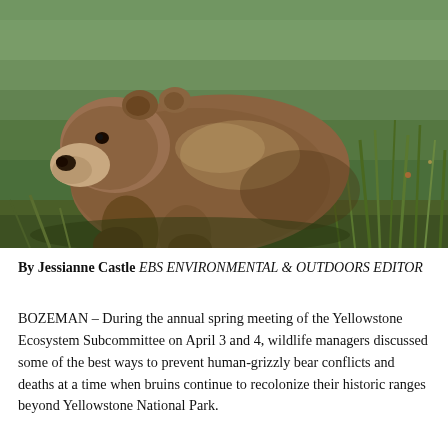[Figure (photo): A grizzly bear walking along a grassy riverbank with green water in the background and tall grass on the right.]
By Jessianne Castle EBS ENVIRONMENTAL & OUTDOORS EDITOR
BOZEMAN – During the annual spring meeting of the Yellowstone Ecosystem Subcommittee on April 3 and 4, wildlife managers discussed some of the best ways to prevent human-grizzly bear conflicts and deaths at a time when bruins continue to recolonize their historic ranges beyond Yellowstone National Park.